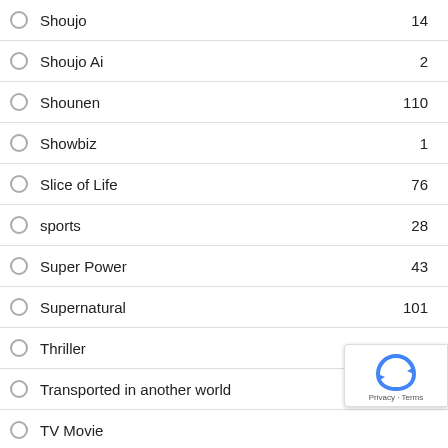Shoujo — 14
Shoujo Ai — 2
Shounen — 110
Showbiz — 1
Slice of Life — 76
sports — 28
Super Power — 43
Supernatural — 101
Thriller — 16
Transported in another world — 6
TV Movie
Vampire — 8